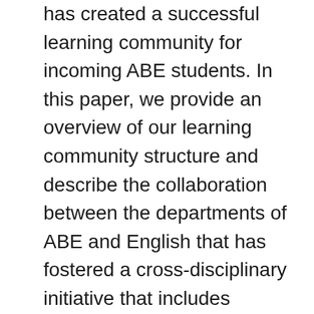has created a successful learning community for incoming ABE students. In this paper, we provide an overview of our learning community structure and describe the collaboration between the departments of ABE and English that has fostered a cross-disciplinary initiative that includes students writing papers relating to agriculture and engineering in composition and using newly learned technical writing skills for report writing in engineering graphics and design and engineering problem solving. Both quantitative and qualitative methods were employed to assess the ABE Learning Community. Results are reported, including survey data which reveals that on average, students agreed or strongly agreed that they developed or enhanced their team skills through collaborative assignments in their learning